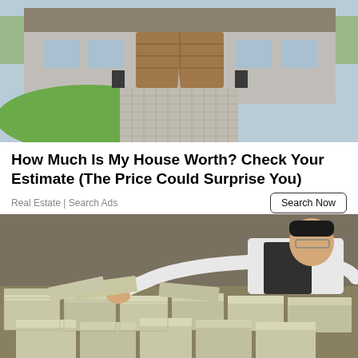[Figure (photo): Aerial/front view of a large luxury house with a curved paver driveway, green lawn, and attached garage with brown door. Blue sky visible at top.]
How Much Is My House Worth? Check Your Estimate (The Price Could Surprise You)
Real Estate | Search Ads
[Figure (photo): A man in a white shirt and dark vest leans over a large table completely covered with stacks of bundled US dollar bills, reaching out with both hands toward the money.]